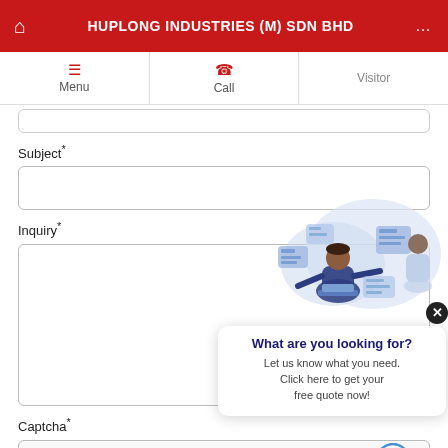HUPLONG INDUSTRIES (M) SDN BHD
Menu
Call
Visitor
Subject*
Inquiry*
[Figure (illustration): Popup widget showing a person working with digital interface elements. Contains 'What are you looking for?' heading, 'Let us know what you need. Click here to get your free quote now!' body text, and a close (x) button.]
Captcha*
I'm not a robot
reCAPTCHA
Privacy · Terms